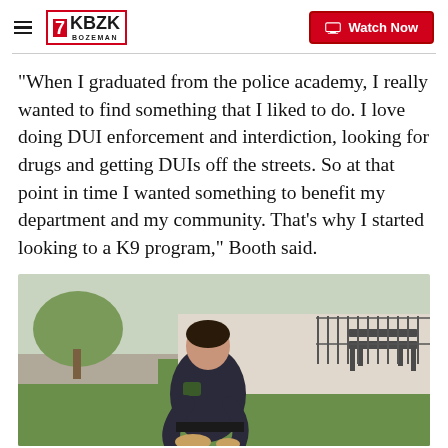KBZK BOZEMAN | Watch Now
“When I graduated from the police academy, I really wanted to find something that I liked to do. I love doing DUI enforcement and interdiction, looking for drugs and getting DUIs off the streets. So at that point in time I wanted something to benefit my department and my community. That’s why I started looking to a K9 program,” Booth said.
[Figure (photo): A police officer in dark uniform bending down on a grass lawn, apparently interacting with a K9 dog (partially visible at bottom). A park bench and metal fence are visible in the background.]